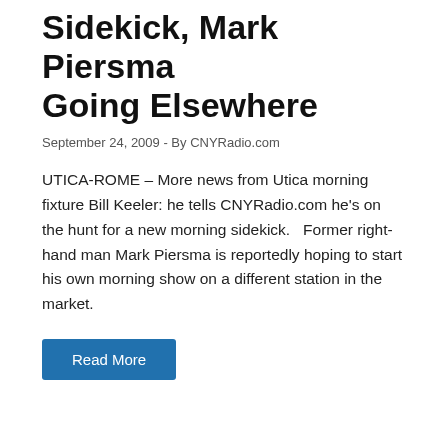Sidekick, Mark Piersma Going Elsewhere
September 24, 2009 - By CNYRadio.com
UTICA-ROME – More news from Utica morning fixture Bill Keeler: he tells CNYRadio.com he's on the hunt for a new morning sidekick.   Former right-hand man Mark Piersma is reportedly hoping to start his own morning show on a different station in the market.
Read More